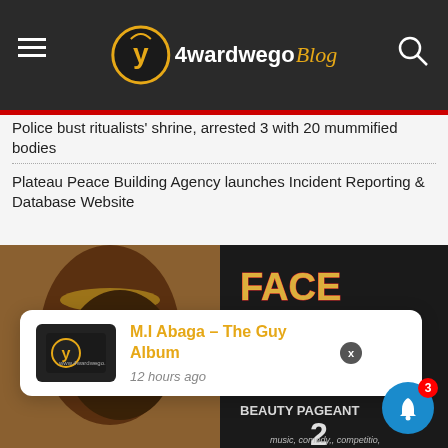4wardwego Blog
Police bust ritualists' shrine, arrested 3 with 20 mummified bodies
Plateau Peace Building Agency launches Incident Reporting & Database Website
[Figure (photo): Promotional image for 'Face of Culture Style & Beauty Pageant' featuring a dark-skinned woman with ornate headpiece]
M.I Abaga – The Guy Album
12 hours ago